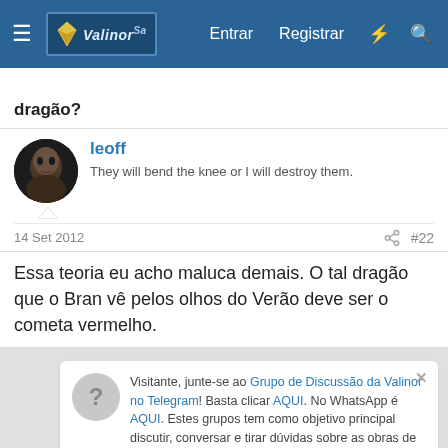Valinor — Entrar  Registrar
dragão?
leoff — They will bend the knee or I will destroy them.
14 Set 2012  #22
Essa teoria eu acho maluca demais. O tal dragão que o Bran vê pelos olhos do Verão deve ser o cometa vermelho.
Visitante, junte-se ao Grupo de Discussão da Valinor no Telegram! Basta clicar AQUI. No WhatsApp é AQUI. Estes grupos tem como objetivo principal discutir, conversar e tirar dúvidas sobre as obras de J. R. R. Tolkien (sejam os livros ou obras derivadas como os filmes)